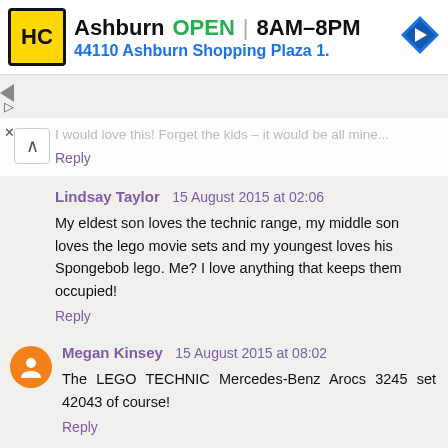[Figure (screenshot): Advertisement banner for Honest-1 Auto Care (HC logo) in Ashburn, showing OPEN status, hours 8AM-8PM, address 44110 Ashburn Shopping Plaza 1., and a navigation arrow icon.]
I would love this! Forget the kids - it would be all mine...
Reply
Lindsay Taylor  15 August 2015 at 02:06
My eldest son loves the technic range, my middle son loves the lego movie sets and my youngest loves his Spongebob lego. Me? I love anything that keeps them occupied!
Reply
Megan Kinsey  15 August 2015 at 08:02
The LEGO TECHNIC Mercedes-Benz Arocs 3245 set 42043 of course!
Reply